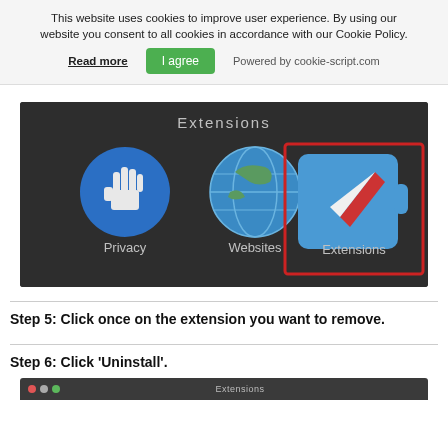This website uses cookies to improve user experience. By using our website you consent to all cookies in accordance with our Cookie Policy.
Read more   I agree   Powered by cookie-script.com
[Figure (screenshot): macOS Safari Extensions preferences pane showing three icons: Privacy (hand icon), Websites (globe icon), and Extensions (compass/puzzle icon) with Extensions highlighted in a red rectangle border. 'Extensions' header text visible at top.]
Step 5: Click once on the extension you want to remove.
Step 6: Click 'Uninstall'.
[Figure (screenshot): Bottom strip of a macOS Extensions window showing traffic light buttons (red, grey, green) and 'Extensions' title in the title bar.]